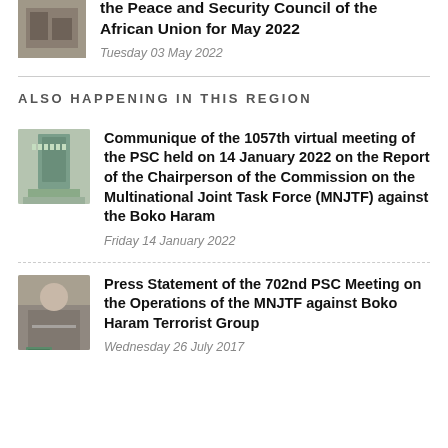the Peace and Security Council of the African Union for May 2022
Tuesday 03 May 2022
ALSO HAPPENING IN THIS REGION
Communique of the 1057th virtual meeting of the PSC held on 14 January 2022 on the Report of the Chairperson of the Commission on the Multinational Joint Task Force (MNJTF) against the Boko Haram
Friday 14 January 2022
Press Statement of the 702nd PSC Meeting on the Operations of the MNJTF against Boko Haram Terrorist Group
Wednesday 26 July 2017